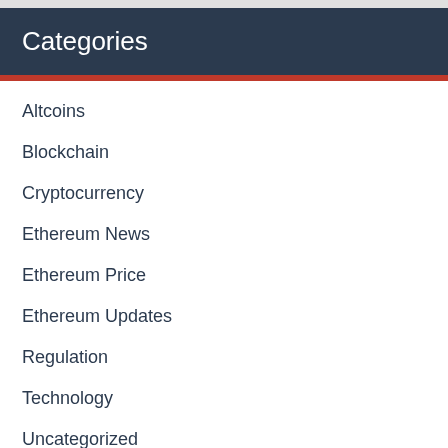Categories
Altcoins
Blockchain
Cryptocurrency
Ethereum News
Ethereum Price
Ethereum Updates
Regulation
Technology
Uncategorized
Videos